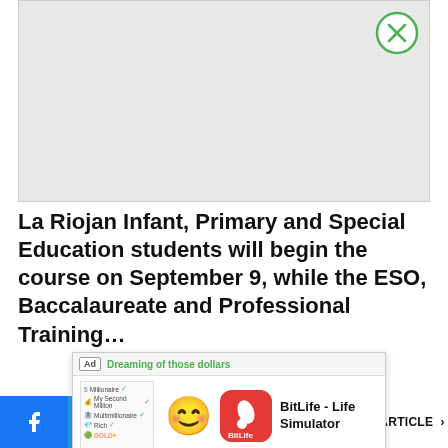[Figure (screenshot): Gray advertisement placeholder area with a close (X) button in the top-right corner]
La Riojan Infant, Primary and Special Education students will begin the course on September 9, while the ESO, Baccalaureate and Professional Training...
[Figure (screenshot): In-article app advertisement for BitLife - Life Simulator showing emoji and app icon with Install! button]
NEXT ARTICLE >